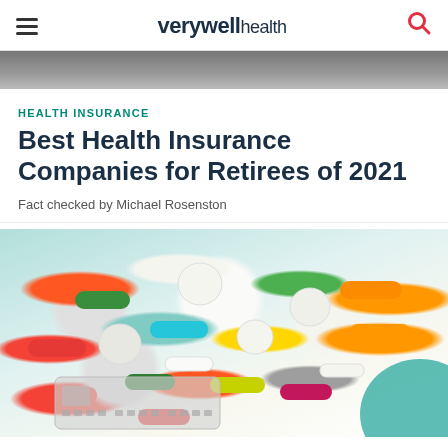verywell health
[Figure (photo): Partial hero image banner at top of page]
HEALTH INSURANCE
Best Health Insurance Companies for Retirees of 2021
Fact checked by Michael Rosenston
[Figure (photo): Colorful assorted pills and capsules scattered on a surface with a credit card partially visible, set against a teal/mint background]
HEALTH INSURANCE